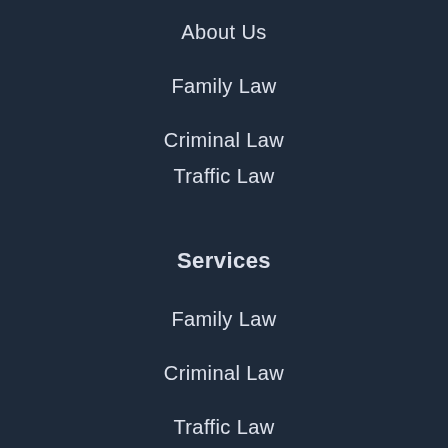About Us
Family Law
Criminal Law
Traffic Law
Services
Family Law
Criminal Law
Traffic Law
Blog Articles